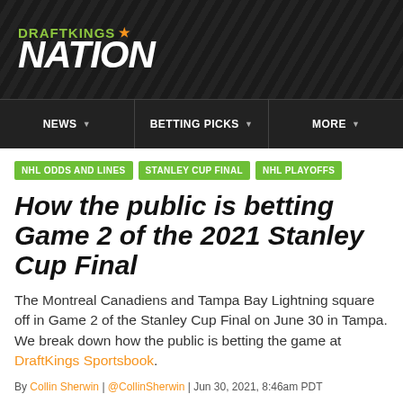[Figure (logo): DraftKings Nation logo on dark striped background, green DRAFTKINGS text with orange crown icon, white italic NATION text]
NEWS | BETTING PICKS | MORE
NHL ODDS AND LINES
STANLEY CUP FINAL
NHL PLAYOFFS
How the public is betting Game 2 of the 2021 Stanley Cup Final
The Montreal Canadiens and Tampa Bay Lightning square off in Game 2 of the Stanley Cup Final on June 30 in Tampa. We break down how the public is betting the game at DraftKings Sportsbook.
By Collin Sherwin | @CollinSherwin | Jun 30, 2021, 8:46am PDT